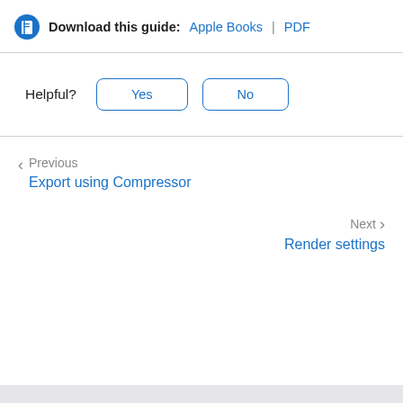Download this guide: Apple Books | PDF
Helpful? Yes No
Previous
Export using Compressor
Next
Render settings